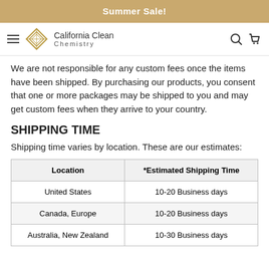Summer Sale!
We are not responsible for any custom fees once the items have been shipped. By purchasing our products, you consent that one or more packages may be shipped to you and may get custom fees when they arrive to your country.
SHIPPING TIME
Shipping time varies by location. These are our estimates:
| Location | *Estimated Shipping Time |
| --- | --- |
| United States | 10-20 Business days |
| Canada, Europe | 10-20 Business days |
| Australia, New Zealand | 10-30 Business days |